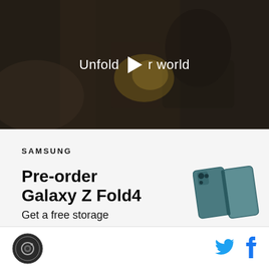[Figure (screenshot): Dark cinematic video thumbnail showing a woman holding a foldable phone, with text overlay 'Unfold your world' and a play button]
SAMSUNG
Pre-order Galaxy Z Fold4
Get a free storage
[Figure (photo): Samsung Galaxy Z Fold4 phone in teal/blue color shown folded at an angle]
[Figure (logo): Round badge logo with camera icon]
[Figure (logo): Twitter bird icon in blue]
[Figure (logo): Facebook 'f' icon in blue]